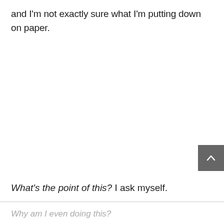and I'm not exactly sure what I'm putting down on paper.
[Figure (other): Gray square scroll-to-top button with an upward-pointing chevron/caret arrow icon]
What's the point of this? I ask myself.
Why am I even doing this?